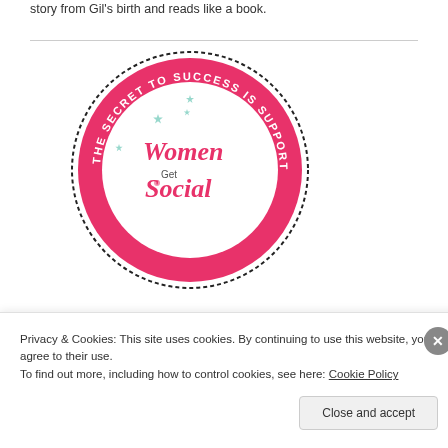story from Gil's birth and reads like a book.
[Figure (logo): Women Get Social circular logo with pink border reading 'THE SECRET TO SUCCESS IS SUPPORT · SITS GIRLS' and 'Women Get Social' text in center with decorative stars]
[Figure (photo): Decorative illustration of a bird among ornate feather/leaf designs on a blue background, framed with a dark border]
Privacy & Cookies: This site uses cookies. By continuing to use this website, you agree to their use.
To find out more, including how to control cookies, see here: Cookie Policy